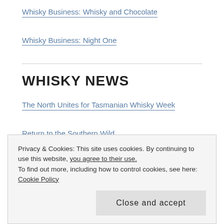Whisky Business: Whisky and Chocolate
Whisky Business: Night One
WHISKY NEWS
The North Unites for Tasmanian Whisky Week
Return to the Southern Wild
Whisky Waffle presents: EuroWaffle
Whisky Waffle Launch Irish Whiskey Week
Whisky Waffle host Christmas drinks at the Chapel
Jim Murray's Whiskey Bible 2018
Privacy & Cookies: This site uses cookies. By continuing to use this website, you agree to their use. To find out more, including how to control cookies, see here: Cookie Policy
Close and accept